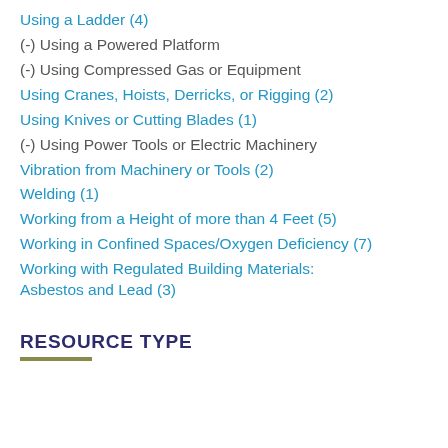Using a Ladder (4)
(-) Using a Powered Platform
(-) Using Compressed Gas or Equipment
Using Cranes, Hoists, Derricks, or Rigging (2)
Using Knives or Cutting Blades (1)
(-) Using Power Tools or Electric Machinery
Vibration from Machinery or Tools (2)
Welding (1)
Working from a Height of more than 4 Feet (5)
Working in Confined Spaces/Oxygen Deficiency (7)
Working with Regulated Building Materials: Asbestos and Lead (3)
RESOURCE TYPE